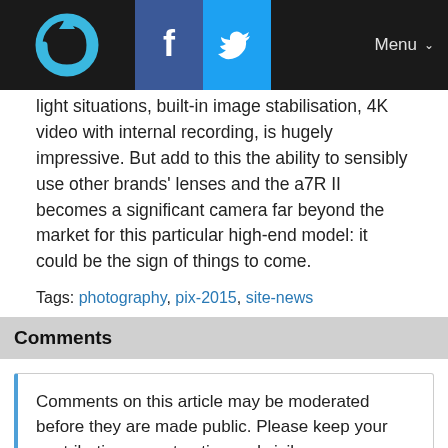Logo | Facebook | Twitter | Menu
light situations, built-in image stabilisation, 4K video with internal recording, is hugely impressive. But add to this the ability to sensibly use other brands' lenses and the a7R II becomes a significant camera far beyond the market for this particular high-end model: it could be the sign of things to come.
Tags: photography, pix-2015, site-news
Comments
Comments on this article may be moderated before they are made public. Please keep your contributions constructive and civil.
View comments (392)
You may also like